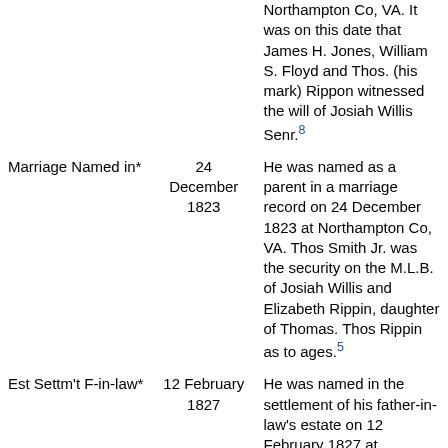| Event | Date | Description |
| --- | --- | --- |
|  |  | Northampton Co, VA. It was on this date that James H. Jones, William S. Floyd and Thos. (his mark) Rippon witnessed the will of Josiah Willis Senr.[8] |
| Marriage Named in* | 24 December 1823 | He was named as a parent in a marriage record on 24 December 1823 at Northampton Co, VA. Thos Smith Jr. was the security on the M.L.B. of Josiah Willis and Elizabeth Rippin, daughter of Thomas. Thos Rippin as to ages.[5] |
| Est Settm't F-in-law* | 12 February 1827 | He was named in the settlement of his father-in-law's estate on 12 February 1827 at Northampton Co. |